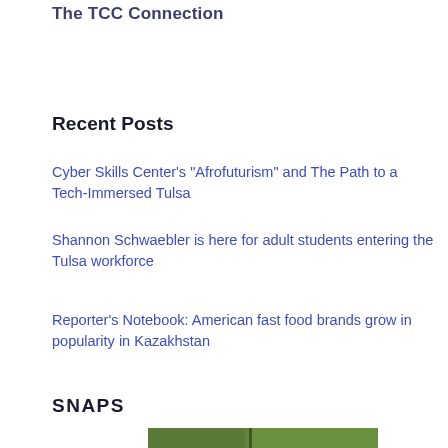The TCC Connection
Recent Posts
Cyber Skills Center’s “Afrofuturism” and The Path to a Tech-Immersed Tulsa
Shannon Schwaebler is here for adult students entering the Tulsa workforce
Reporter’s Notebook: American fast food brands grow in popularity in Kazakhstan
SNAPS
[Figure (photo): Partial photo strip showing green foliage/trees, cropped at bottom of page]